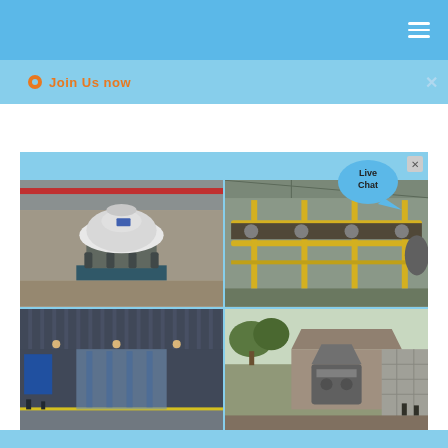Navigation bar with hamburger menu icon
Join Us now
[Figure (photo): Four-panel industrial photo grid: top-left shows a large cone crusher machine inside a factory; top-right shows yellow conveyor belt system in a plant; bottom-left shows a modern transit station interior; bottom-right shows an outdoor crushing/mining installation.]